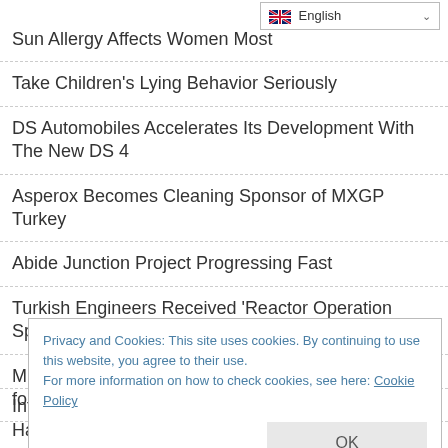English (language selector)
Sun Allergy Affects Women Most
Take Children's Lying Behavior Seriously
DS Automobiles Accelerates Its Development With The New DS 4
Asperox Becomes Cleaning Sponsor of MXGP Turkey
Abide Junction Project Progressing Fast
Turkish Engineers Received 'Reactor Operation Specialist' Certificates
Minister Announced: The Date Has Been Determined for Istanbul Airport Metro
Privacy and Cookies: This site uses cookies. By continuing to use this website, you agree to their use.
For more information on how to check cookies, see here: Cookie Policy
OK
Infrastructure Work Carried Out by İSKİ in Hacıosman